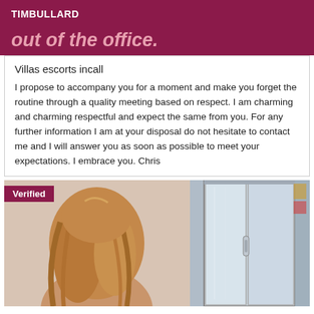TIMBULLARD
out of the office.
Villas escorts incall
I propose to accompany you for a moment and make you forget the routine through a quality meeting based on respect. I am charming and charming respectful and expect the same from you. For any further information I am at your disposal do not hesitate to contact me and I will answer you as soon as possible to meet your expectations. I embrace you. Chris
[Figure (photo): Two-panel photo block: left panel shows back of a woman with long blonde hair against a light pink wall; right panel shows a bathroom door/shower enclosure. A 'Verified' badge appears in the top-left corner of the photo block.]